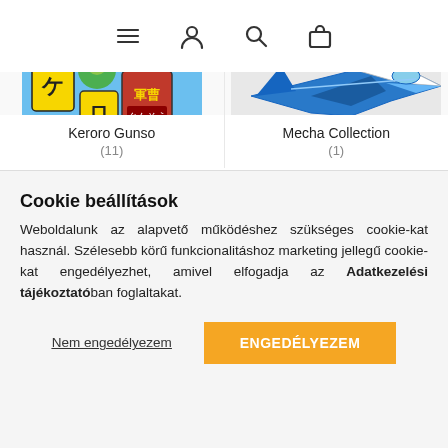Navigation bar with menu, account, search, and cart icons
[Figure (photo): Keroro Gunso product image with Japanese anime character logo]
Keroro Gunso
(11)
[Figure (photo): Mecha Collection product image showing blue and white aircraft/mecha model]
Mecha Collection
(1)
Cookie beállítások
Weboldalunk az alapvető működéshez szükséges cookie-kat használ. Szélesebb körű funkcionalitáshoz marketing jellegű cookie-kat engedélyezhet, amivel elfogadja az Adatkezelési tájékoztatóban foglaltakat.
Nem engedélyezem
ENGEDÉLYEZEM